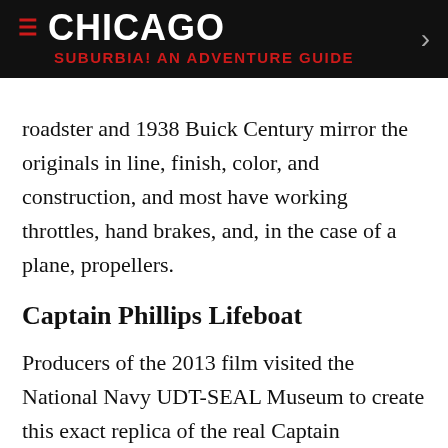CHICAGO
SUBURBIA! AN ADVENTURE GUIDE
roadster and 1938 Buick Century mirror the originals in line, finish, color, and construction, and most have working throttles, hand brakes, and, in the case of a plane, propellers.
Captain Phillips Lifeboat
Producers of the 2013 film visited the National Navy UDT-SEAL Museum to create this exact replica of the real Captain Phillips’s lifeboat, right down to its “authentically placed bullet holes.” Tom Hanks spent nine weeks inside the